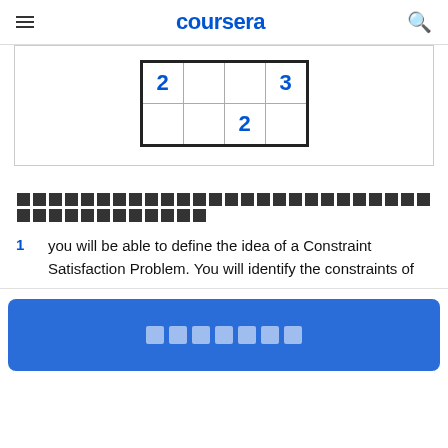coursera
[Figure (table-as-image): Partial sudoku-style grid showing numbers 2, 3, and 2 in specific cells]
[redacted text line]
1  you will be able to define the idea of a Constraint Satisfaction Problem. You will identify the constraints of
[Figure (other): Blue button bar with 7 small squares]